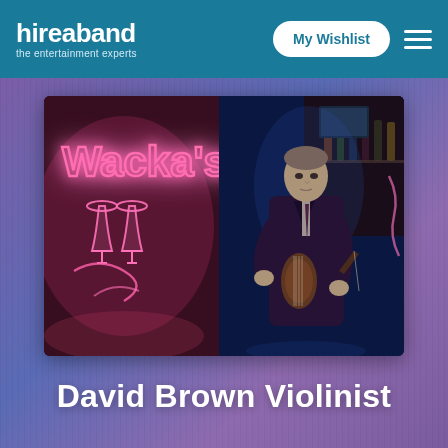hireaband – the entertainment experts | My Wishlist
[Figure (photo): Photograph of David Brown Violinist standing in a bar/venue called Wacka's, with pink neon sign on the left and the violinist in a dark suit holding a violin on the right side, dark blue ambient lighting]
David Brown Violinist